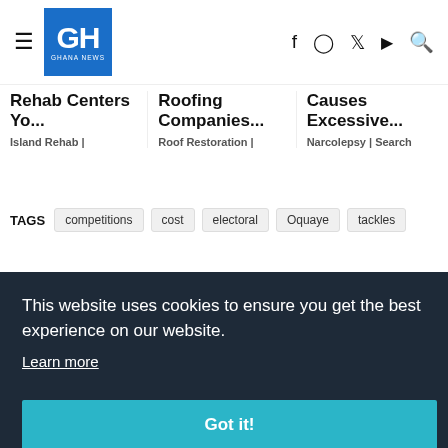GH GHANA NEWS
Rehab Centers Yo... | Island Rehab |
Roofing Companies... | Roof Restoration |
Causes Excessive... | Narcolepsy | Search
TAGS  competitions  cost  electoral  Oquaye  tackles
This website uses cookies to ensure you get the best experience on our website.
Learn more
Got it!
Alinkin Shares Colorful Visuals For 'Out of...